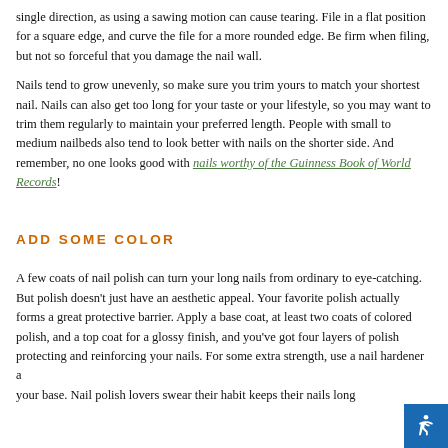single direction, as using a sawing motion can cause tearing. File in a flat position for a square edge, and curve the file for a more rounded edge. Be firm when filing, but not so forceful that you damage the nail wall.
Nails tend to grow unevenly, so make sure you trim yours to match your shortest nail. Nails can also get too long for your taste or your lifestyle, so you may want to trim them regularly to maintain your preferred length. People with small to medium nailbeds also tend to look better with nails on the shorter side. And remember, no one looks good with nails worthy of the Guinness Book of World Records!
ADD SOME COLOR
A few coats of nail polish can turn your long nails from ordinary to eye-catching. But polish doesn't just have an aesthetic appeal. Your favorite polish actually forms a great protective barrier. Apply a base coat, at least two coats of colored polish, and a top coat for a glossy finish, and you've got four layers of polish protecting and reinforcing your nails. For some extra strength, use a nail hardener as your base. Nail polish lovers swear their habit keeps their nails long